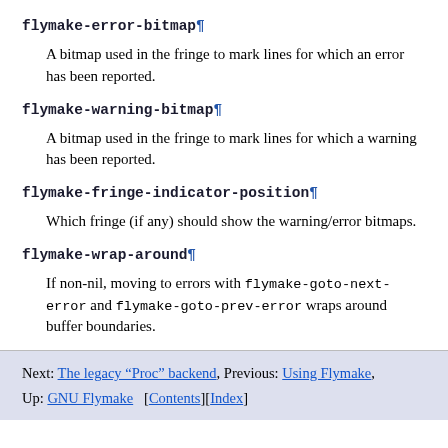flymake-error-bitmap ¶
A bitmap used in the fringe to mark lines for which an error has been reported.
flymake-warning-bitmap ¶
A bitmap used in the fringe to mark lines for which a warning has been reported.
flymake-fringe-indicator-position ¶
Which fringe (if any) should show the warning/error bitmaps.
flymake-wrap-around ¶
If non-nil, moving to errors with flymake-goto-next-error and flymake-goto-prev-error wraps around buffer boundaries.
Next: The legacy “Proc” backend, Previous: Using Flymake, Up: GNU Flymake   [Contents][Index]